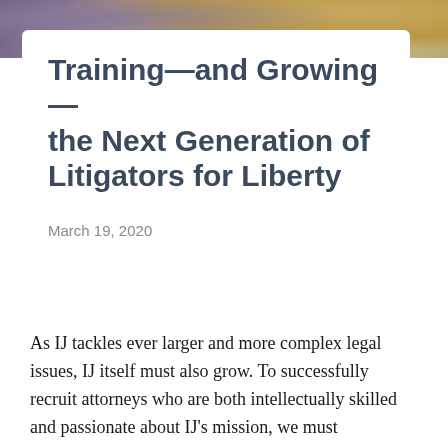[Figure (photo): Background photo bar at top of page showing blurred people and food/objects in warm tones]
Training—and Growing—the Next Generation of Litigators for Liberty
March 19, 2020
As IJ tackles ever larger and more complex legal issues, IJ itself must also grow. To successfully recruit attorneys who are both intellectually skilled and passionate about IJ's mission, we must